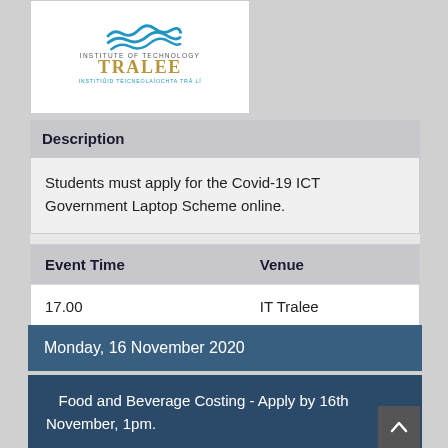[Figure (logo): Institute of Technology Tralee logo with blue wave graphic and gold/blue text]
Description
Students must apply for the Covid-19 ICT Government Laptop Scheme online.
| Event Time | Venue |
| --- | --- |
| 17.00 | IT Tralee |
Monday, 16 November 2020
Food and Beverage Costing - Apply by 16th November, 1pm.